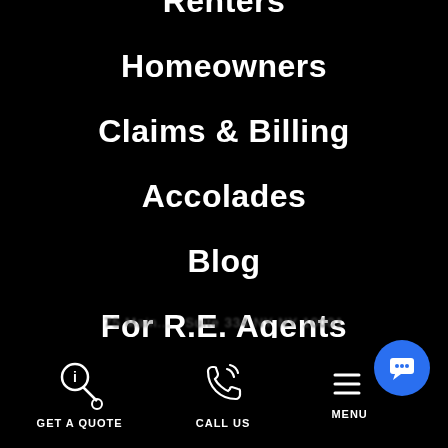Renters
Homeowners
Claims & Billing
Accolades
Blog
For R.E. Agents
75 Main... Suite 334 NY NY 10001
GET A QUOTE   CALL US   MENU